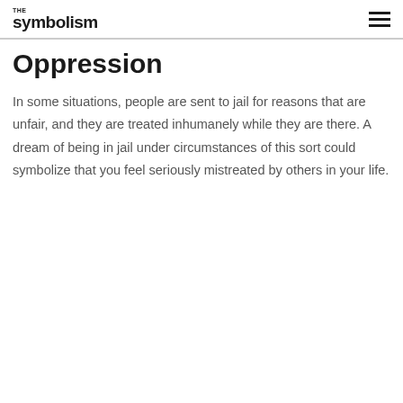THE symbolism
Oppression
In some situations, people are sent to jail for reasons that are unfair, and they are treated inhumanely while they are there. A dream of being in jail under circumstances of this sort could symbolize that you feel seriously mistreated by others in your life.